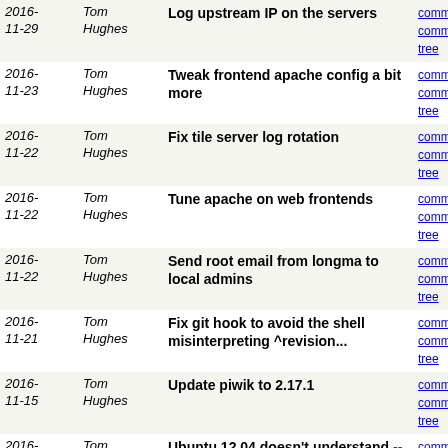| Date | Author | Commit message | Actions |
| --- | --- | --- | --- |
| 2016-11-29 | Tom Hughes | Log upstream IP on the servers | commit | commitdiff | tree |
| 2016-11-23 | Tom Hughes | Tweak frontend apache config a bit more | commit | commitdiff | tree |
| 2016-11-22 | Tom Hughes | Fix tile server log rotation | commit | commitdiff | tree |
| 2016-11-22 | Tom Hughes | Tune apache on web frontends | commit | commitdiff | tree |
| 2016-11-22 | Tom Hughes | Send root email from longma to local admins | commit | commitdiff | tree |
| 2016-11-21 | Tom Hughes | Fix git hook to avoid the shell misinterpreting ^revision... | commit | commitdiff | tree |
| 2016-11-15 | Tom Hughes | Update piwik to 2.17.1 | commit | commitdiff | tree |
| 2016-11-15 | Tom Hughes | Ubuntu 12.04 doesn't understand --preallocate | commit | commitdiff | tree |
| 2016-11-15 | Tom Hughes | Update zsh configuration | commit | commitdiff | tree |
| 2016-11-14 | Tom Hughes | Move GPX import to spike-01 | commit | commitdiff | tree |
| 2016-11-14 | Tom Hughes | Block ticketmaster spam | commit | commitdiff | tree |
| 2016-11-12 | Tom Hughes | Exclude /run/user/* from df and df_inode graphs | commit | commitdiff | tree |
| 2016-11-11 | Tom Hughes | Update bundle | commit | commitdiff | tree |
| 2016- | Tom | Discard bounces to mailman-loop | commit | commitdiff |